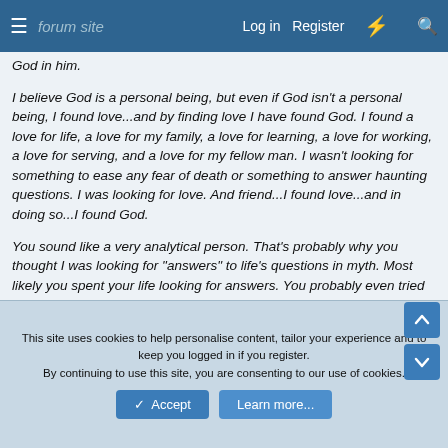Log in  Register
God in him.
I believe God is a personal being, but even if God isn't a personal being, I found love...and by finding love I have found God. I found a love for life, a love for my family, a love for learning, a love for working, a love for serving, and a love for my fellow man. I wasn't looking for something to ease any fear of death or something to answer haunting questions. I was looking for love. And friend...I found love...and in doing so...I found God.
You sound like a very analytical person. That's probably why you thought I was looking for "answers" to life's questions in myth. Most likely you spent your life looking for answers. You probably even tried finding answers in religion. I'll even bet that you were let down by what you found in religion. But "answers" isn't what
This site uses cookies to help personalise content, tailor your experience and to keep you logged in if you register.
By continuing to use this site, you are consenting to our use of cookies.